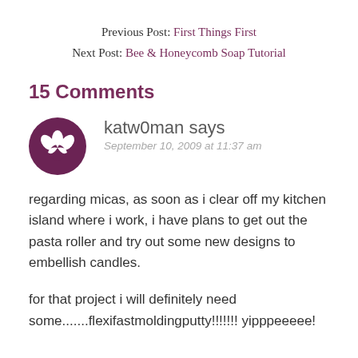Previous Post: First Things First
Next Post: Bee & Honeycomb Soap Tutorial
15 Comments
katw0man says
September 10, 2009 at 11:37 am
regarding micas, as soon as i clear off my kitchen island where i work, i have plans to get out the pasta roller and try out some new designs to embellish candles.
for that project i will definitely need some.......flexifastmoldingputty!!!!!!! yipppeeeee!